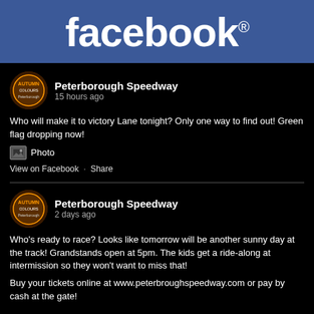[Figure (logo): Facebook logo on blue background]
Peterborough Speedway
15 hours ago
Who will make it to victory Lane tonight? Only one way to find out! Green flag dropping now!
Photo
View on Facebook  ·  Share
Peterborough Speedway
2 days ago
Who's ready to race? Looks like tomorrow will be another sunny day at the track! Grandstands open at 5pm. The kids get a ride-along at intermission so they won't want to miss that!
Buy your tickets online at www.peterbroughspeedway.com or pay by cash at the gate!